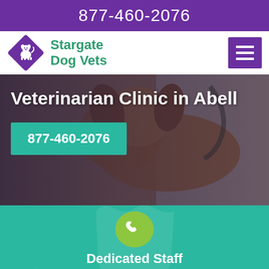877-460-2076
Stargate Dog Vets
[Figure (photo): Veterinarian in white coat examining a Cavalier King Charles Spaniel dog with a stethoscope, hero banner image]
Veterinarian Clinic in Abell
877-460-2076
[Figure (logo): Green phone icon in a lime green circle]
Dedicated Staff
Dedicated vets at our veterinarian clinic perform an extensive range of veterinary services for pets, birds, and wild animals.